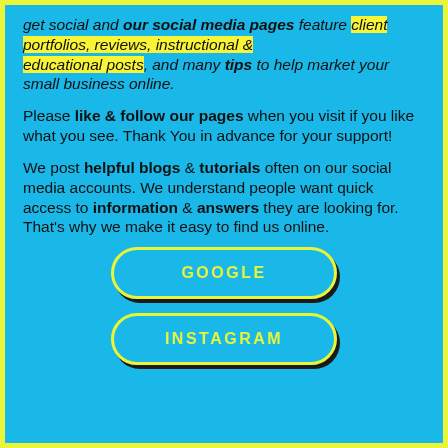get social and our social media pages feature client portfolios, reviews, instructional & educational posts, and many tips to help market your small business online.
Please like & follow our pages when you visit if you like what you see. Thank You in advance for your support!
We post helpful blogs & tutorials often on our social media accounts. We understand people want quick access to information & answers they are looking for. That's why we make it easy to find us online.
GOOGLE
INSTAGRAM